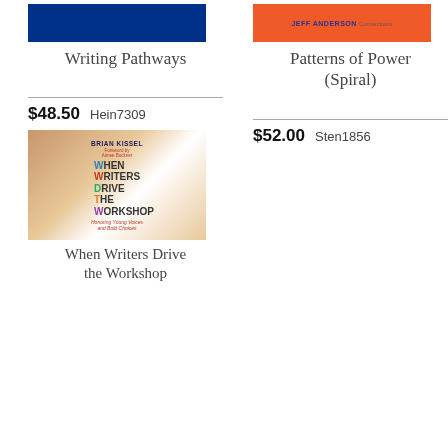[Figure (photo): Book cover for Writing Pathways with dark blue background]
[Figure (photo): Book cover for Patterns of Power (Spiral) with orange background and text JEFF ANDERSON]
Writing Pathways
Patterns of Power (Spiral)
$48.50   Hein7309
$52.00   Sten1856
[Figure (photo): Book cover for When Writers Drive the Workshop by Brian Kissel, showing a child writing with a pencil, colorful hand-lettered title text]
When Writers Drive the Workshop